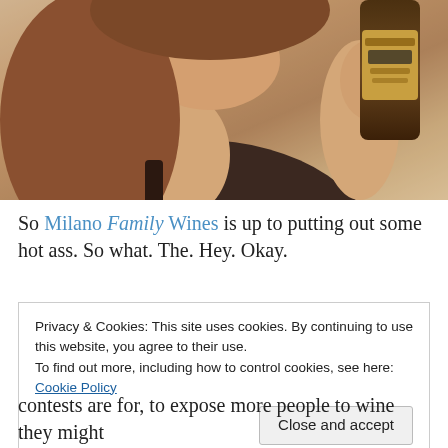[Figure (photo): A person holding a bottle of Milano Family Wines, photographed from the neck/chin area down, wearing a dark top, with brown hair visible.]
So Milano Family Wines is up to putting out some hot ass. So what. The. Hey. Okay.
Privacy & Cookies: This site uses cookies. By continuing to use this website, you agree to their use. To find out more, including how to control cookies, see here: Cookie Policy
Close and accept
contests are for, to expose more people to wine they might